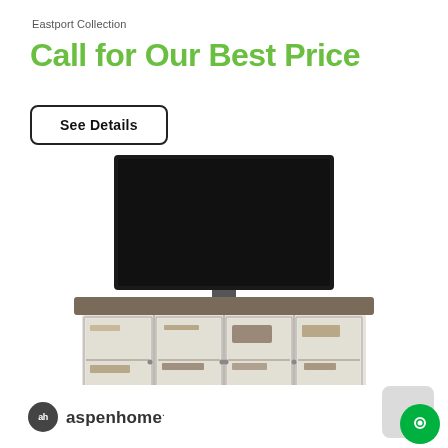Eastport Collection
Call for Our Best Price
See Details
[Figure (photo): A white distressed TV console/media cabinet from the Eastport Collection with four glass-paneled doors, dark wood top surface, and a large flat-screen television placed on top.]
[Figure (logo): aspenhome logo: dark circle with 'ah' initials and the text 'aspenhome.' in grey]